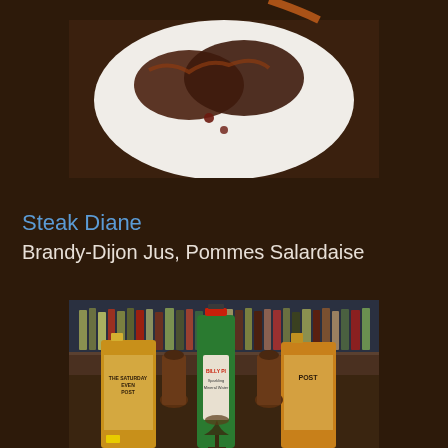[Figure (photo): Close-up photo of Steak Diane dish on a white plate with sauce, on a dark background]
Steak Diane
Brandy-Dijon Jus, Pommes Salardaise
[Figure (photo): Photo of bar setting with vintage Saturday Evening Post bottles, a Perrier bottle, a cocktail glass, and a full bar with bottles in the background]